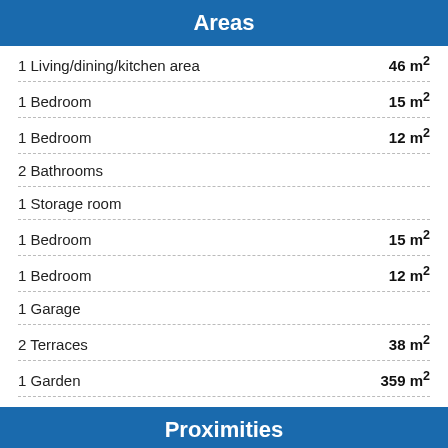Areas
1 Living/dining/kitchen area
1 Bedroom
1 Bedroom
2 Bathrooms
1 Storage room
1 Bedroom
1 Bedroom
1 Garage
2 Terraces
1 Garden
Proximities
Bus
Town centre